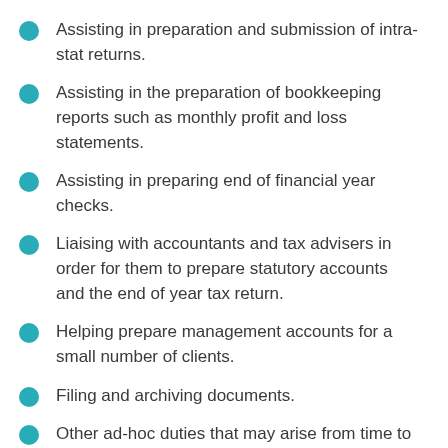Assisting in preparation and submission of intra-stat returns.
Assisting in the preparation of bookkeeping reports such as monthly profit and loss statements.
Assisting in preparing end of financial year checks.
Liaising with accountants and tax advisers in order for them to prepare statutory accounts and the end of year tax return.
Helping prepare management accounts for a small number of clients.
Filing and archiving documents.
Other ad-hoc duties that may arise from time to time within the department.